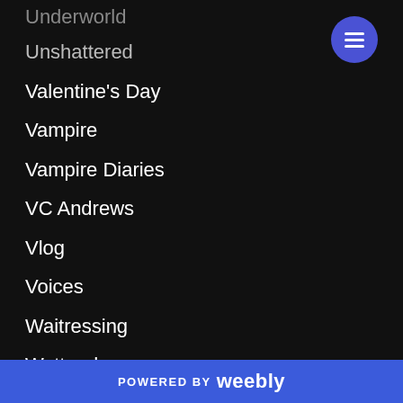Underworld
Unshattered
Valentine's Day
Vampire
Vampire Diaries
VC Andrews
Vlog
Voices
Waitressing
Wattpad
Web Series
POWERED BY weebly